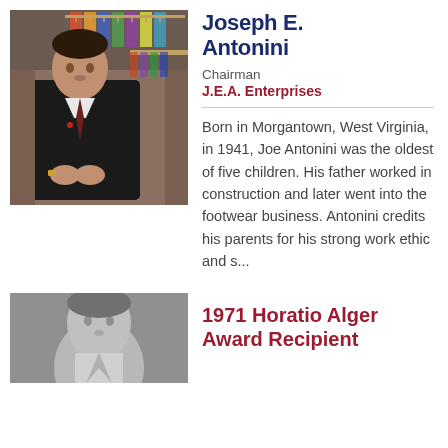[Figure (photo): Color photo of Joseph E. Antonini standing in front of clothing racks, wearing a dark suit and tie.]
Joseph E. Antonini
Chairman
J.E.A. Enterprises
Born in Morgantown, West Virginia, in 1941, Joe Antonini was the oldest of five children. His father worked in construction and later went into the footwear business. Antonini credits his parents for his strong work ethic and s...
[Figure (photo): Grayscale portrait photo of a person, partially visible at bottom of page.]
1971 Horatio Alger Award Recipient